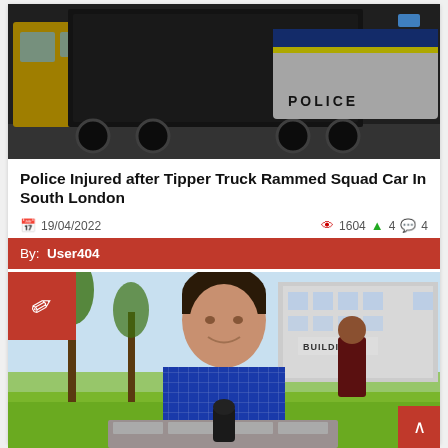[Figure (photo): A tipper truck and police car on a street in South London]
Police Injured after Tipper Truck Rammed Squad Car In South London
19/04/2022   1604  4  4
By: User404
[Figure (photo): News reporter standing outdoors in front of a building, holding microphone]